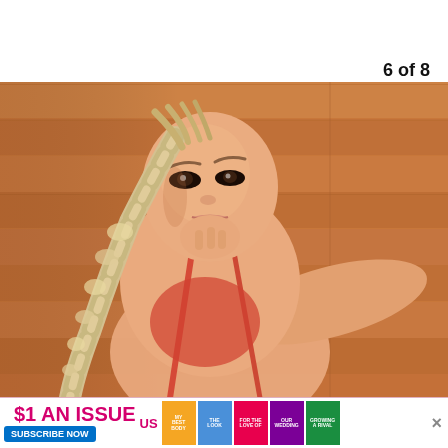6 of 8
[Figure (photo): Blonde woman with long braided ponytail wearing a red halter bikini top, posed against a wooden plank wall background with warm orange tones, looking at camera with smoky eye makeup]
[Figure (infographic): Advertisement banner: $1 AN ISSUE with SUBSCRIBE NOW button and US Weekly magazine covers displayed]